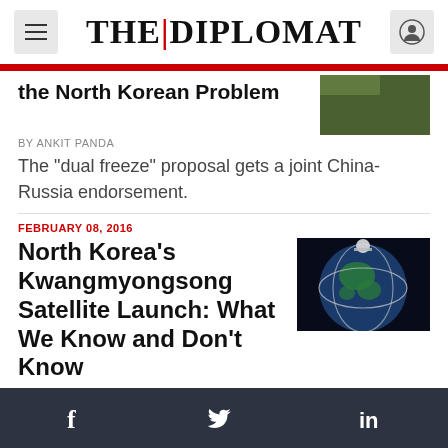THE | DIPLOMAT
the North Korean Problem
By ANKIT PANDA
The "dual freeze" proposal gets a joint China-Russia endorsement.
FEBRUARY 08, 2016
North Korea's Kwangmyongsong Satellite Launch: What We Know and Don't Know
By ANKIT PANDA
North Korea's successful test of the Kwangmyongsong satellite launch vehicle raises questions about its ICBM progress.